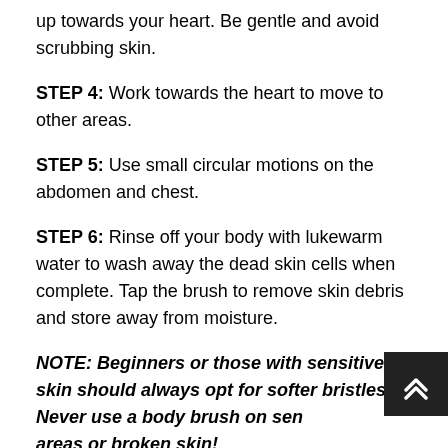up towards your heart. Be gentle and avoid scrubbing skin.
STEP 4: Work towards the heart to move to other areas.
STEP 5: Use small circular motions on the abdomen and chest.
STEP 6: Rinse off your body with lukewarm water to wash away the dead skin cells when complete. Tap the brush to remove skin debris and store away from moisture.
NOTE: Beginners or those with sensitive skin should always opt for softer bristles. Never use a body brush on sensitive areas or broken skin!
Improve lymphatic flow by following the directions of